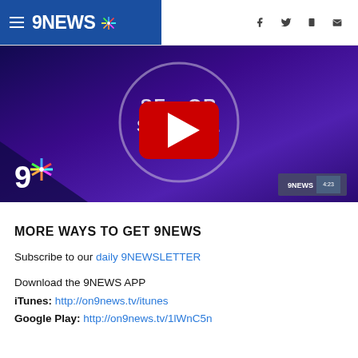9NEWS (navigation header with hamburger menu, 9NEWS logo, and social icons: facebook, twitter, mobile, email)
[Figure (screenshot): 9NEWS YouTube video thumbnail showing 'Senior Source' text on a purple background with circle ring, a YouTube play button (red rectangle with white triangle), 9NEWS logo bottom left and badge bottom right]
MORE WAYS TO GET 9NEWS
Subscribe to our daily 9NEWSLETTER
Download the 9NEWS APP
iTunes: http://on9news.tv/itunes
Google Play: http://on9news.tv/1lWnC5n